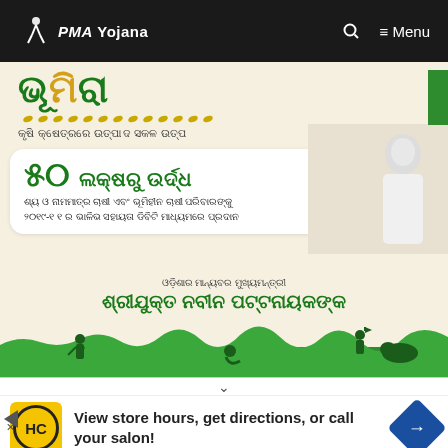PMA Yojana — Menu
[Figure (infographic): Odia language government scheme infographic showing KALIA scheme benefits, featuring text in Odia script about 25,000+ lakh rupees benefit, CM Naveen Patnaik launching, dated 19 February 2019 at 4 PM, with farmer silhouettes at bottom]
[Figure (infographic): Advertisement banner: HC logo in yellow circle, text 'View store hours, get directions, or call your salon!' with blue directional arrow icon]